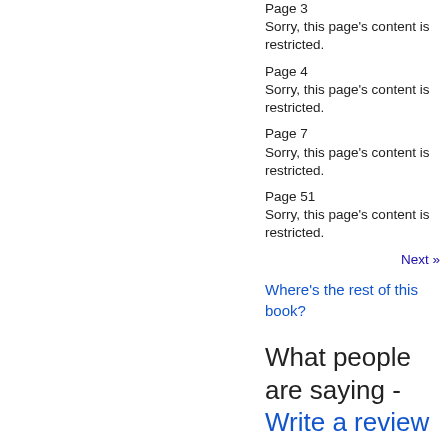Page 3
Sorry, this page's content is restricted.
Page 4
Sorry, this page's content is restricted.
Page 7
Sorry, this page's content is restricted.
Page 51
Sorry, this page's content is restricted.
Next »
Where's the rest of this book?
What people are saying - Write a review
Reviews aren't verified,